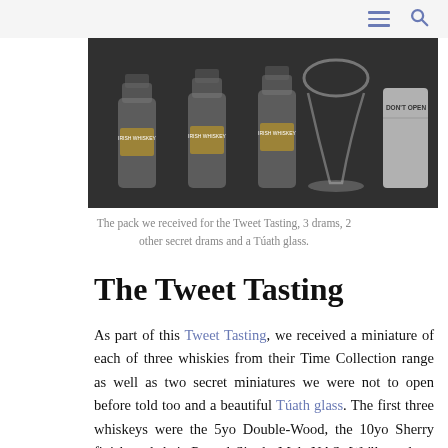[Figure (photo): A tasting pack photo with several small whiskey bottles labeled 'Irish Whiskey', a Túath glass, and a sealed envelope labeled 'DON'T OPEN', arranged on a dark surface.]
The pack we received for the Tweet Tasting, 3 drams, 2 other secret drams and a Túath glass.
The Tweet Tasting
As part of this Tweet Tasting, we received a miniature of each of three whiskies from their Time Collection range as well as two secret miniatures we were not to open before told too and a beautiful Túath glass. The first three whiskeys were the 5yo Double-Wood, the 10yo Sherry finish and their Peated Single Malt NAS. We'll see later down below about the other two!